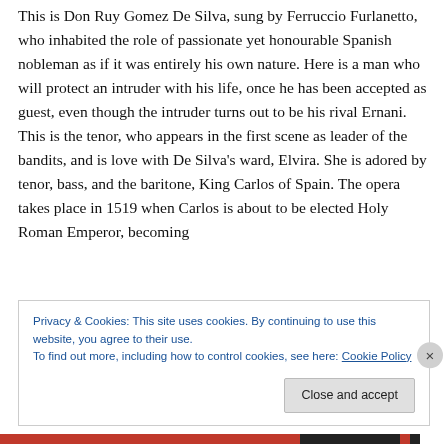This is Don Ruy Gomez De Silva, sung by Ferruccio Furlanetto, who inhabited the role of passionate yet honourable Spanish nobleman as if it was entirely his own nature. Here is a man who will protect an intruder with his life, once he has been accepted as guest, even though the intruder turns out to be his rival Ernani. This is the tenor, who appears in the first scene as leader of the bandits, and is love with De Silva's ward, Elvira. She is adored by tenor, bass, and the baritone, King Carlos of Spain. The opera takes place in 1519 when Carlos is about to be elected Holy Roman Emperor, becoming
Privacy & Cookies: This site uses cookies. By continuing to use this website, you agree to their use.
To find out more, including how to control cookies, see here: Cookie Policy